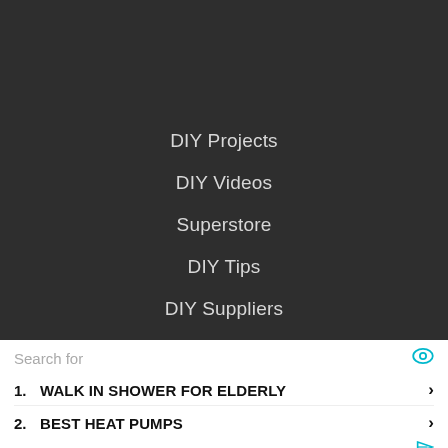DIY Projects
DIY Videos
Superstore
DIY Tips
DIY Suppliers
Search for
1. WALK IN SHOWER FOR ELDERLY
2. BEST HEAT PUMPS